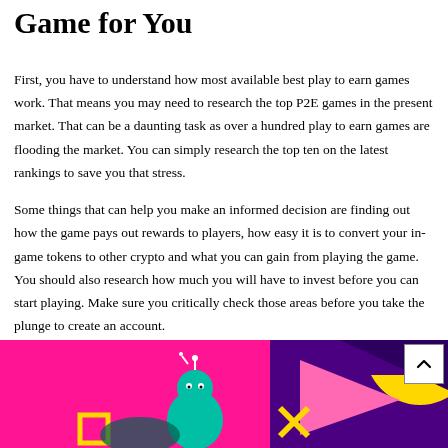Game for You
First, you have to understand how most available best play to earn games work. That means you may need to research the top P2E games in the present market. That can be a daunting task as over a hundred play to earn games are flooding the market. You can simply research the top ten on the latest rankings to save you that stress.
Some things that can help you make an informed decision are finding out how the game pays out rewards to players, how easy it is to convert your in-game tokens to other crypto and what you can gain from playing the game. You should also research how much you will have to invest before you can start playing. Make sure you critically check those areas before you take the plunge to create an account.
[Figure (illustration): Colorful gaming-themed illustration with pink, purple, green, and yellow shapes including game controller symbols (square, X), geometric triangles, and a stylized character on a bright background.]